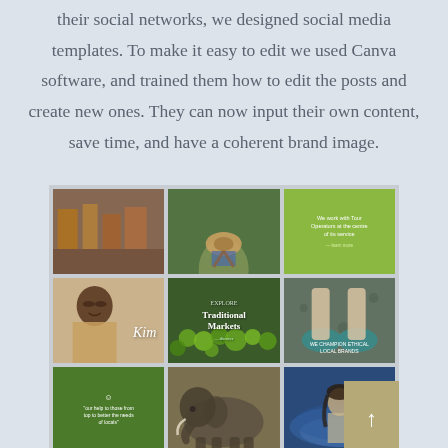their social networks, we designed social media templates. To make it easy to edit we used Canva software, and trained them how to edit the posts and create new ones. They can now input their own content, save time, and have a coherent brand image.
[Figure (photo): A 3x3 grid of social media template images including: a colorful market scene, a top-down view of a person with a hat on a path, a green quote card, a portrait of a smiling man with the name 'Kim', a traditional markets image with produce, a feet/shoes photo, a green quote card with a smiley face, an elephant photo, and a woman in water photo.]